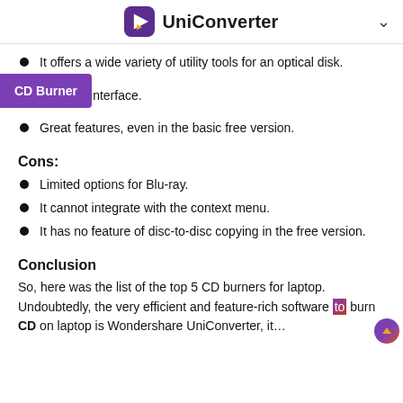UniConverter
It offers a wide variety of utility tools for an optical disk.
[Figure (other): CD Burner label/badge in purple]
…d simple interface.
Great features, even in the basic free version.
Cons:
Limited options for Blu-ray.
It cannot integrate with the context menu.
It has no feature of disc-to-disc copying in the free version.
Conclusion
So, here was the list of the top 5 CD burners for laptop. Undoubtedly, the very efficient and feature-rich software to burn CD on laptop is Wondershare UniConverter, it…